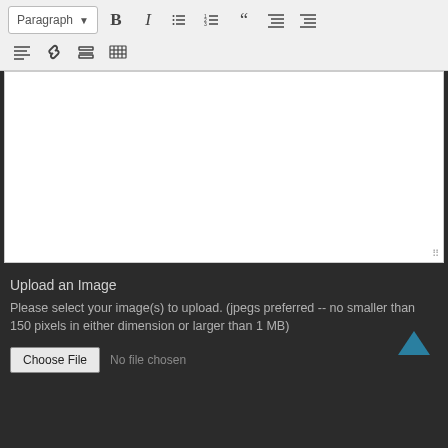[Figure (screenshot): Rich text editor toolbar with paragraph style selector, bold, italic, list, numbered list, blockquote, indent, outdent buttons in first row; and align, link, horizontal rule, table buttons in second row. Below toolbar is a white text editing area. At bottom is a dark section with image upload controls.]
Upload an Image
Please select your image(s) to upload. (jpegs preferred -- no smaller than 150 pixels in either dimension or larger than 1 MB)